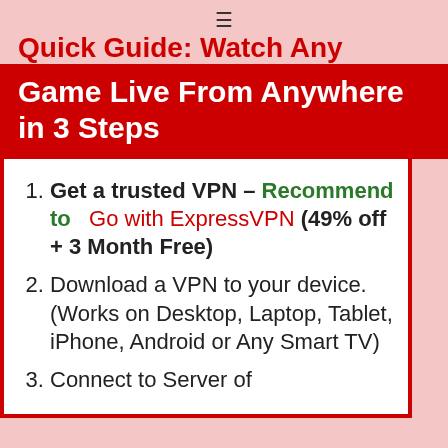≡
Quick Guide: Watch Any Game Live From Anywhere in 3 Steps
Get a trusted VPN – Recommend to Go with ExpressVPN (49% off + 3 Month Free)
Download a VPN to your device. (Works on Desktop, Laptop, Tablet, iPhone, Android or Any Smart TV)
Connect to Server of